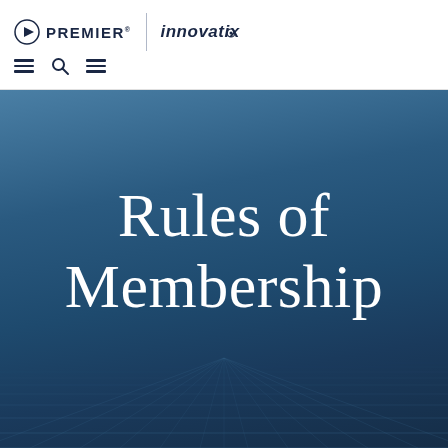PREMIER® | innovatix
Rules of Membership